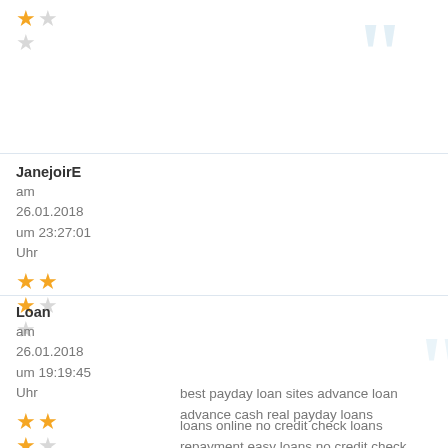[Figure (other): Partial star rating at top of page showing 1 full star, 1 empty star in row 1, and 1 empty star in row 2]
JanejoirE
am
26.01.2018
um 23:27:01
Uhr
best payday loan sites advance loan advance cash real payday loans
[Figure (other): Star rating: row1: 2 full stars, row2: 1 full star 1 empty star, row3: 1 empty star]
Loan
am
26.01.2018
um 19:19:45
Uhr
loans online no credit check loans repayment easy loans no credit check personal loan no credit check
[Figure (other): Star rating: row1: 2 full stars, row2: 1 full star 1 empty star, row3: 1 empty star (partial)]